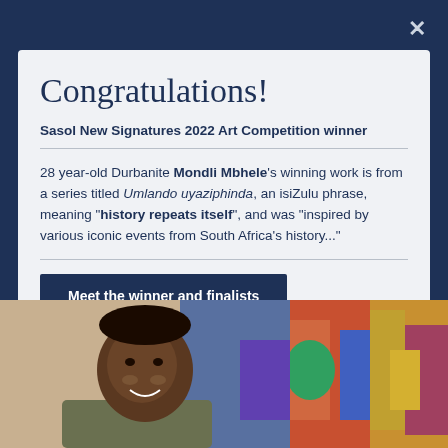Congratulations!
Sasol New Signatures 2022 Art Competition winner
28 year-old Durbanite Mondli Mbhele's winning work is from a series titled Umlando uyaziphinda, an isiZulu phrase, meaning "history repeats itself", and was "inspired by various iconic events from South Africa's history..."
Meet the winner and finalists
[Figure (photo): Photo of Mondli Mbhele, a young man smiling, standing in front of colorful artwork]